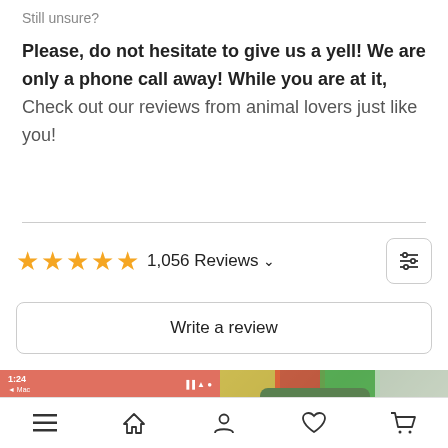Still unsure?
Please, do not hesitate to give us a yell! We are only a phone call away! While you are at it, Check out our reviews from animal lovers just like you!
★★★★★ 1,056 Reviews ∨
Write a review
[Figure (screenshot): Phone screenshot showing nextgenpaws.com.au website, time 1:24, on Mac]
[Figure (photo): Green ceramic mug with a black dog photo printed on it, held by hand]